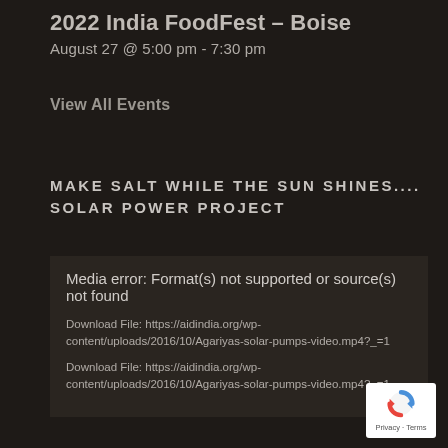2022 India FoodFest – Boise
August 27 @ 5:00 pm - 7:30 pm
View All Events
MAKE SALT WHILE THE SUN SHINES.... SOLAR POWER PROJECT
Media error: Format(s) not supported or source(s) not found
Download File: https://aidindia.org/wp-content/uploads/2016/10/Agariyas-solar-pumps-video.mp4?_=1
Download File: https://aidindia.org/wp-content/uploads/2016/10/Agariyas-solar-pumps-video.mp4?_=1
[Figure (logo): reCAPTCHA logo with Privacy and Terms text]